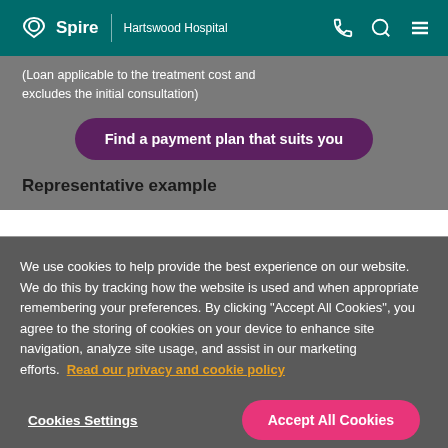Spire | Hartswood Hospital
(Loan applicable to the treatment cost and excludes the initial consultation)
Find a payment plan that suits you
Representative example
We use cookies to help provide the best experience on our website. We do this by tracking how the website is used and when appropriate remembering your preferences. By clicking "Accept All Cookies", you agree to the storing of cookies on your device to enhance site navigation, analyze site usage, and assist in our marketing efforts. Read our privacy and cookie policy
Cookies Settings
Accept All Cookies